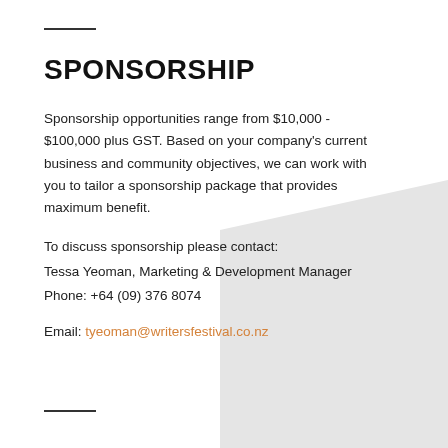SPONSORSHIP
Sponsorship opportunities range from $10,000 - $100,000 plus GST. Based on your company’s current business and community objectives, we can work with you to tailor a sponsorship package that provides maximum benefit.
To discuss sponsorship please contact:
Tessa Yeoman, Marketing & Development Manager
Phone: +64 (09) 376 8074
Email: tyeoman@writersfestival.co.nz